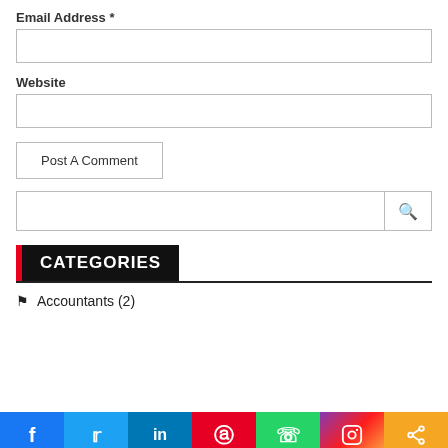Email Address *
Website
Post A Comment
CATEGORIES
Accountants (2)